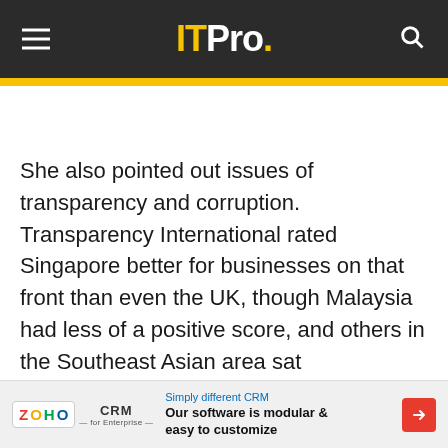ITPro.
She also pointed out issues of transparency and corruption. Transparency International rated Singapore better for businesses on that front than even the UK, though Malaysia had less of a positive score, and others in the Southeast Asian area sat
[Figure (other): Zoho CRM advertisement banner: 'Simply different CRM – Our software is modular & easy to customize']